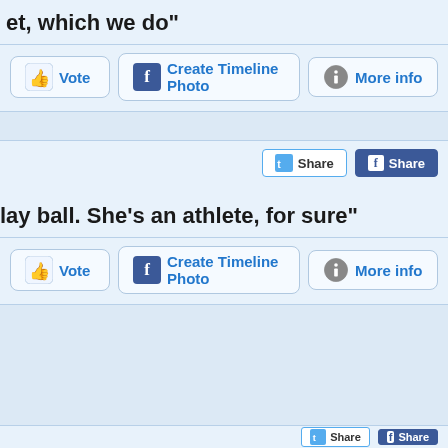et, which we do"
[Figure (screenshot): Row of three buttons: Vote (thumbs up), Create Timeline Photo (Facebook), More info (info icon)]
[Figure (screenshot): Share buttons row: Twitter Share, Facebook Share]
lay ball. She's an athlete, for sure"
[Figure (screenshot): Row of three buttons: Vote (thumbs up), Create Timeline Photo (Facebook), More info (info icon)]
[Figure (screenshot): Bottom partial share buttons row]